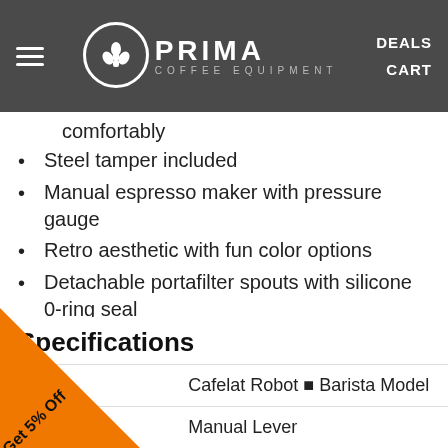PRIMA COFFEE EQUIPMENT | DEALS | CART
comfortably
Steel tamper included
Manual espresso maker with pressure gauge
Retro aesthetic with fun color options
Detachable portafilter spouts with silicone 0-ring seal
Requires source for hot water
Non-electric ■ does not heat or steam
Specifications
| Field | Value |
| --- | --- |
| odel: | Cafelat Robot ■ Barista Model |
| n: | Manual Lever |